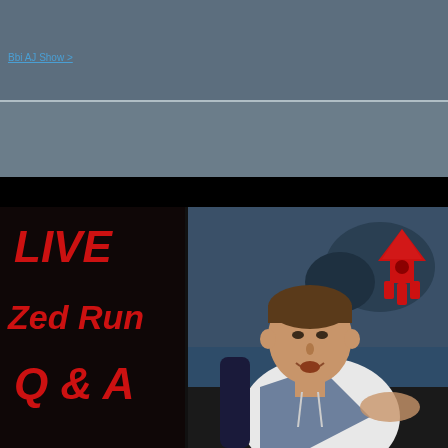LIVE Zed Run Q & A
[Figure (screenshot): Video thumbnail showing a man in a white hoodie sitting in a chair, with text overlay reading LIVE Zed Run Q & A in red italic bold letters on the left side, and a Zed Run logo (red arrow/trident symbol) in the upper right of the video frame. Background shows a landscape painting.]